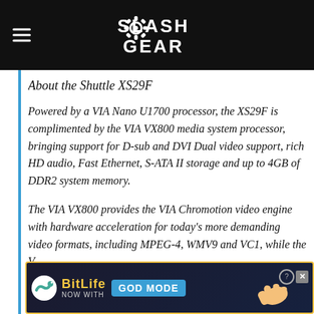SlashGear
About the Shuttle XS29F
Powered by a VIA Nano U1700 processor, the XS29F is complimented by the VIA VX800 media system processor, bringing support for D-sub and DVI Dual video support, rich HD audio, Fast Ethernet, S-ATA II storage and up to 4GB of DDR2 system memory.
The VIA VX800 provides the VIA Chromotion video engine with hardware acceleration for today's more demanding video formats, including MPEG-4, WMV9 and VC1, while the V... bo...
[Figure (screenshot): BitLife advertisement banner: 'NOW WITH GOD MODE' with game logo, hand pointer graphic, help and close buttons]